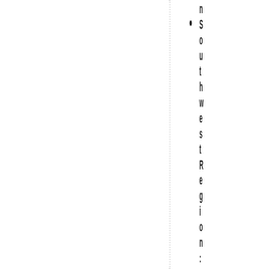n Southwest Region: Vanguard Truck